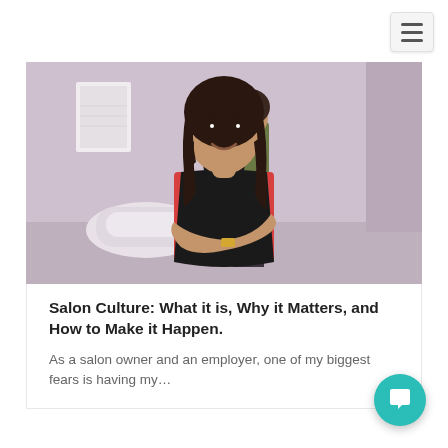[Figure (photo): Navigation bar with hamburger menu button (three horizontal lines) in top right corner on white background]
[Figure (photo): Salon interior photo showing a smiling woman with dark hair wearing a red top and black apron with arms crossed in foreground; another woman in an olive top visible in background near salon chair]
Salon Culture: What it is, Why it Matters, and How to Make it Happen.
As a salon owner and an employer, one of my biggest fears is having my...